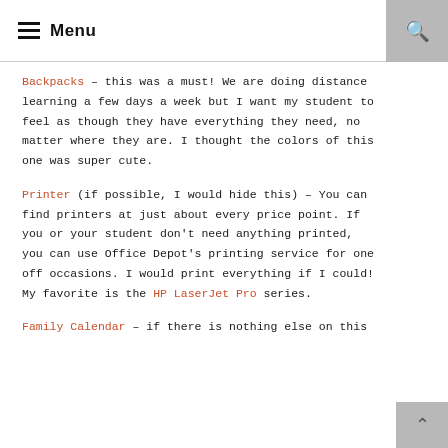Menu
Backpacks – this was a must! We are doing distance learning a few days a week but I want my student to feel as though they have everything they need, no matter where they are. I thought the colors of this one was super cute.
Printer (if possible, I would hide this) – You can find printers at just about every price point. If you or your student don't need anything printed, you can use Office Depot's printing service for one off occasions. I would print everything if I could! My favorite is the HP LaserJet Pro series.
Family Calendar – if there is nothing else on this